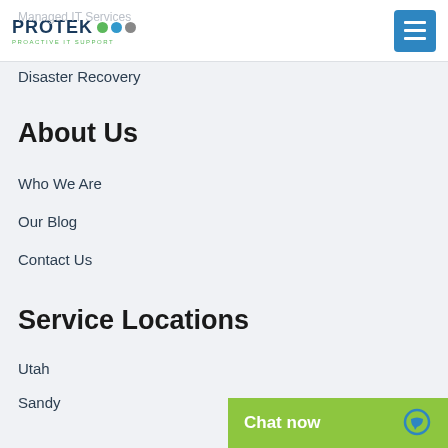Managed IT Services
[Figure (logo): Protek logo with three colored dots (green, blue, gray) and tagline 'Proactive IT Support']
Disaster Recovery
About Us
Who We Are
Our Blog
Contact Us
Service Locations
Utah
Sandy
Chat now